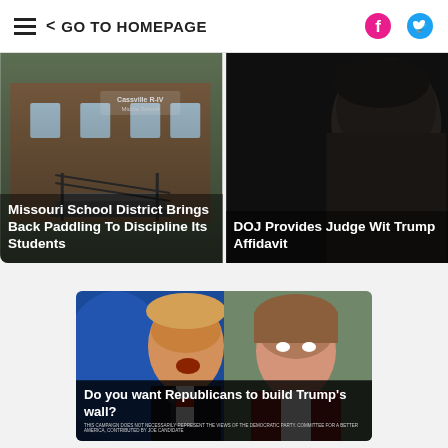GO TO HOMEPAGE
[Figure (photo): Exterior of Cassville R-IV Middle School brick building with stairs and railings]
Missouri School District Brings Back Paddling To Discipline Its Students
[Figure (photo): Close-up dark photo of a man's face in shadow]
DOJ Provides Judge With Trump Affidavit
[Figure (photo): Split photo of Donald Trump at podium on left and Nancy Pelosi on right]
Do you want Republicans to build Trump's wall?